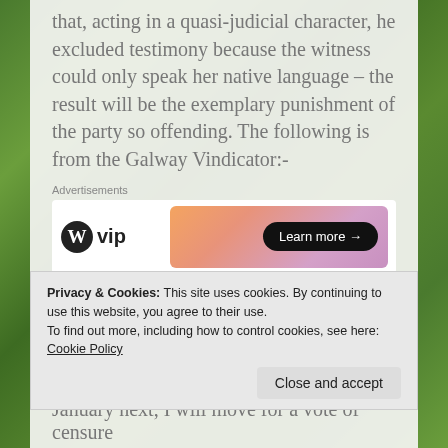that, acting in a quasi-judicial character, he excluded testimony because the witness could only speak her native language – the result will be the exemplary punishment of the party so offending. The following is from the Galway Vindicator:-
[Figure (other): WordPress VIP advertisement banner with gradient orange/pink background and Learn more button]
GORT UNION – MEETING OF GUARDIANS
Privacy & Cookies: This site uses cookies. By continuing to use this website, you agree to their use.
To find out more, including how to control cookies, see here:
Cookie Policy
January next, I will move for a vote of censure